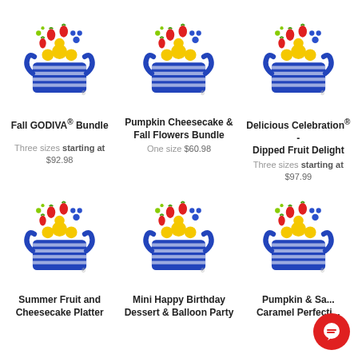[Figure (logo): Shari's Berries / Harry & David style fruit basket logo with flowers]
Fall GODIVA® Bundle
Three sizes starting at $92.98
[Figure (logo): Shari's Berries / Harry & David style fruit basket logo with flowers]
Pumpkin Cheesecake & Fall Flowers Bundle
One size $60.98
[Figure (logo): Shari's Berries / Harry & David style fruit basket logo with flowers]
Delicious Celebration® - Dipped Fruit Delight
Three sizes starting at $97.99
[Figure (logo): Shari's Berries / Harry & David style fruit basket logo with flowers]
Summer Fruit and Cheesecake Platter
[Figure (logo): Shari's Berries / Harry & David style fruit basket logo with flowers]
Mini Happy Birthday Dessert & Balloon Party
[Figure (logo): Shari's Berries / Harry & David style fruit basket logo with flowers]
Pumpkin & Sa... Caramel Perfecti...